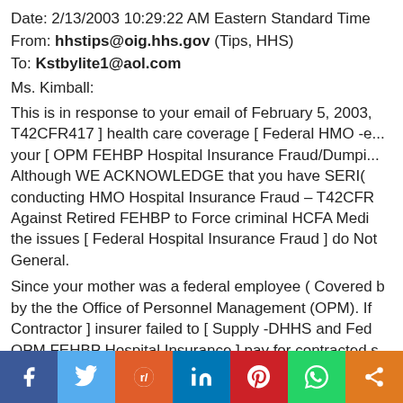Date: 2/13/2003 10:29:22 AM Eastern Standard Time
From: hhstips@oig.hhs.gov (Tips, HHS)
To: Kstbylite1@aol.com
Ms. Kimball:
This is in response to your email of February 5, 2003, T42CFR417 ] health care coverage [ Federal HMO -e... your [ OPM FEHBP Hospital Insurance Fraud/Dumpi... Although WE ACKNOWLEDGE that you have SERI( conducting HMO Hospital Insurance Fraud – T42CFR Against Retired FEHBP to Force criminal HCFA Med the issues [ Federal Hospital Insurance Fraud ] do Not General.
Since your mother was a federal employee ( Covered b by the the Office of Personnel Management (OPM). If Contractor ] insurer failed to [ Supply -DHHS and Fed OPM FEHBP Hospital Insurance ] pay for contracted s